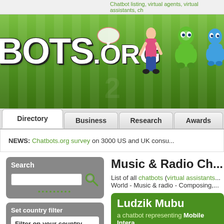Chatbot listing, virtual agents, virtual assistants, ch...
[Figure (screenshot): Chatbots.org website header banner with logo 'BOTS.ORG' on green background with animated characters]
Directory | Business | Research | Awards
NEWS: Chatbots.org survey on 3000 US and UK consu...
Music & Radio Ch...
List of all chatbots (virtual assistants... World - Music & radio - Composing,...
Search
Set country filter
Filter on your country
United States (281)
Popular countries
Ludzik Mubu
a chatbot representing Mobile Intera...
by InteliWISE since Oct ... recognition, TV, Visual...